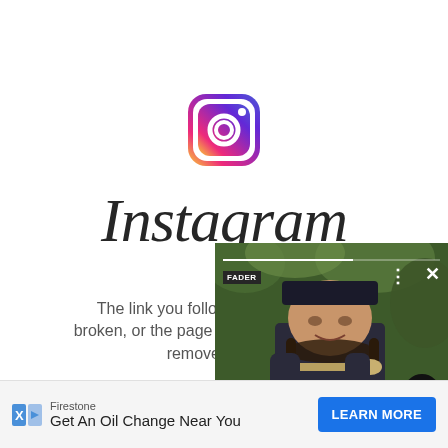[Figure (logo): Instagram app icon — rounded square with gradient (pink/orange/purple) border and camera outline]
Instagram
The link you followed may be broken, or the page may have been removed.
[Figure (screenshot): News article card from FADER showing a woman holding a trumpet outdoors with headline 'Avant-garde trumpeter Jaimie branch dies at 39']
Avant-garde trumpeter Jaimie branch dies at 39
[Figure (infographic): Firestone advertisement banner: 'Get An Oil Change Near You' with LEARN MORE button]